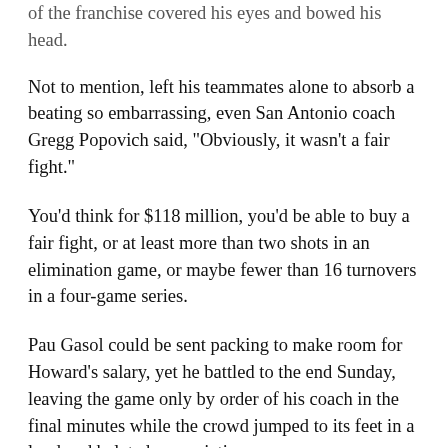of the franchise covered his eyes and bowed his head.
Not to mention, left his teammates alone to absorb a beating so embarrassing, even San Antonio coach Gregg Popovich said, "Obviously, it wasn't a fair fight."
You'd think for $118 million, you'd be able to buy a fair fight, or at least more than two shots in an elimination game, or maybe fewer than 16 turnovers in a four-game series.
Pau Gasol could be sent packing to make room for Howard's salary, yet he battled to the end Sunday, leaving the game only by order of his coach in the final minutes while the crowd jumped to its feet in a loud and belated appreciation.
"I wish he didn't get ejected so ... he would have stuck all the way through with the team," said Gasol of Howard.
Mike D'Antoni could also be sent packing to make room for Howard's whims, yet the coach also fought to the end, marching up and down the sidelines even as, during one rare moment when the booing and grumbling quieted, a fan